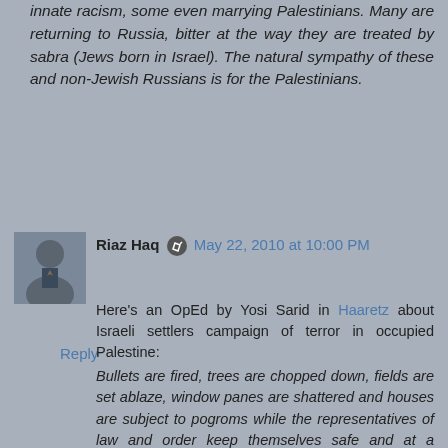innate racism, some even marrying Palestinians. Many are returning to Russia, bitter at the way they are treated by sabra (Jews born in Israel). The natural sympathy of these and non-Jewish Russians is for the Palestinians.
Reply
Riaz Haq  May 22, 2010 at 10:00 PM
Here's an OpEd by Yosi Sarid in Haaretz about Israeli settlers campaign of terror in occupied Palestine:
Bullets are fired, trees are chopped down, fields are set ablaze, window panes are shattered and houses are subject to pogroms while the representatives of law and order keep themselves safe and at a distance.
By Yossi Sarid
It's impossible to ignore any longer the calming presence of the Shin Bet security service in our lives - from the hummus in Gaza to Noam Chomsky in Bir Zeit.
This hyperactivity demands an explanation: How can we